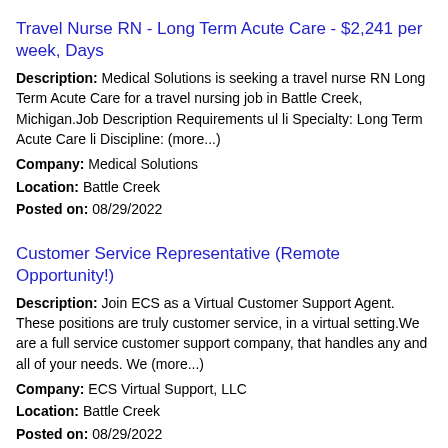Travel Nurse RN - Long Term Acute Care - $2,241 per week, Days
Description: Medical Solutions is seeking a travel nurse RN Long Term Acute Care for a travel nursing job in Battle Creek, Michigan.Job Description Requirements ul li Specialty: Long Term Acute Care li Discipline: (more...)
Company: Medical Solutions
Location: Battle Creek
Posted on: 08/29/2022
Customer Service Representative (Remote Opportunity!)
Description: Join ECS as a Virtual Customer Support Agent. These positions are truly customer service, in a virtual setting.We are a full service customer support company, that handles any and all of your needs. We (more...)
Company: ECS Virtual Support, LLC
Location: Battle Creek
Posted on: 08/29/2022